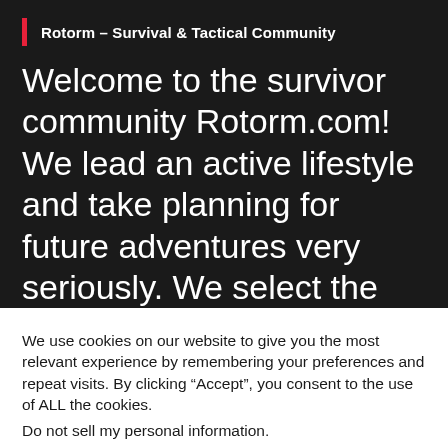Rotorm – Survival & Tactical Community
Welcome to the survivor community Rotorm.com! We lead an active lifestyle and take planning for future adventures very seriously. We select the best tactical & survival equipment from popular trading platforms and
We use cookies on our website to give you the most relevant experience by remembering your preferences and repeat visits. By clicking “Accept”, you consent to the use of ALL the cookies.
Do not sell my personal information.
Cookie settings
ACCEPT